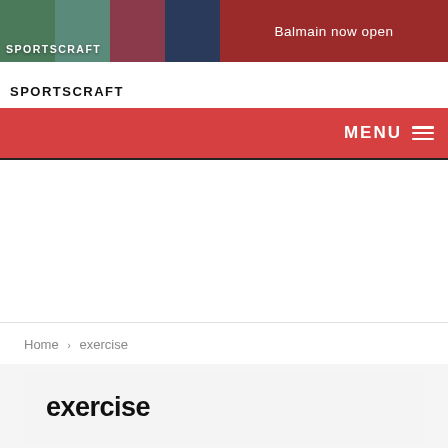[Figure (screenshot): Sportscraft website banner with fashion photos on the left and 'Balmain now open' text on a dark red background on the right]
MENU
Home › exercise
exercise